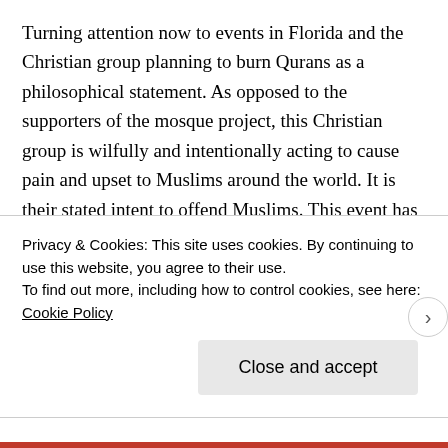Turning attention now to events in Florida and the Christian group planning to burn Qurans as a philosophical statement. As opposed to the supporters of the mosque project, this Christian group is wilfully and intentionally acting to cause pain and upset to Muslims around the world. It is their stated intent to offend Muslims. This event has been vocally opposed by religious leaders of every persuasion. It has been opposed by political leaders at all levels and of all philosophical leanings.

The unfortunate fact, however, is that as morally reprehensible as these actions are, they are perfectly
Privacy & Cookies: This site uses cookies. By continuing to use this website, you agree to their use.
To find out more, including how to control cookies, see here: Cookie Policy
Close and accept